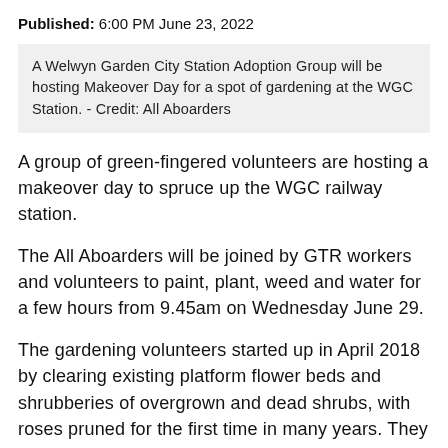Published: 6:00 PM June 23, 2022
A Welwyn Garden City Station Adoption Group will be hosting Makeover Day for a spot of gardening at the WGC Station. - Credit: All Aboarders
A group of green-fingered volunteers are hosting a makeover day to spruce up the WGC railway station.
The All Aboarders will be joined by GTR workers and volunteers to paint, plant, weed and water for a few hours from 9.45am on Wednesday June 29.
The gardening volunteers started up in April 2018 by clearing existing platform flower beds and shrubberies of overgrown and dead shrubs, with roses pruned for the first time in many years. They last held a makeover day in 2019.
One volunteer said: “I joined because I felt a Garden